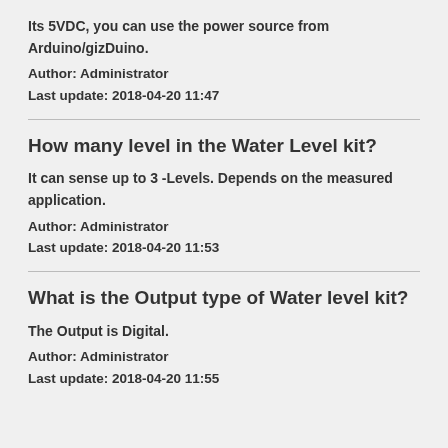Its 5VDC, you can use the power source from Arduino/gizDuino.
Author: Administrator
Last update: 2018-04-20 11:47
How many level in the Water Level kit?
It can sense up to 3 -Levels. Depends on the measured application.
Author: Administrator
Last update: 2018-04-20 11:53
What is the Output type of Water level kit?
The Output is Digital.
Author: Administrator
Last update: 2018-04-20 11:55